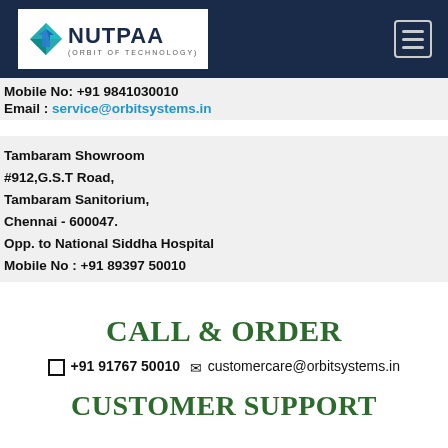[Figure (logo): Nutpaa (Orbit of Technology) logo with colored diamond/arrow icon and dark navy text on white background, inside dark navy navigation bar with hamburger menu icon]
Mobile No: +91 9841030010
Email : service@orbitsystems.in
Tambaram Showroom
#912,G.S.T Road,
Tambaram Sanitorium,
Chennai - 600047.
Opp. to National Siddha Hospital
Mobile No : +91 89397 50010
CALL & ORDER
+91 91767 50010   customercare@orbitsystems.in
CUSTOMER SUPPORT